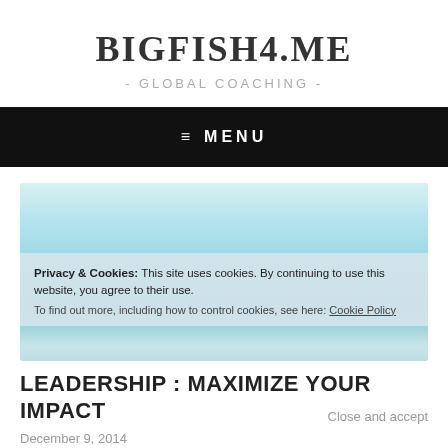BIGFISH4.ME
- GLOBAL COACHING -
≡ MENU
[Figure (photo): Light blue ocean/sea horizon with soft sky, calm water surface, gentle gradient from pale blue sky to teal-green water]
Privacy & Cookies: This site uses cookies. By continuing to use this website, you agree to their use.
To find out more, including how to control cookies, see here: Cookie Policy
LEADERSHIP : MAXIMIZE YOUR IMPACT
December 9, 2014